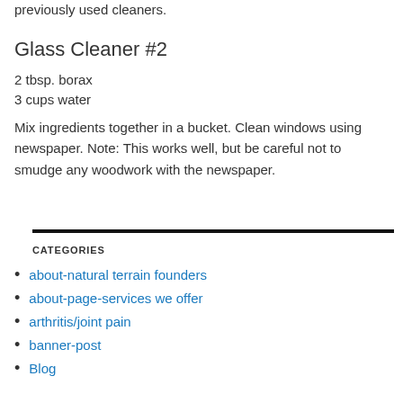previously used cleaners.
Glass Cleaner #2
2 tbsp. borax
3 cups water
Mix ingredients together in a bucket. Clean windows using newspaper. Note: This works well, but be careful not to smudge any woodwork with the newspaper.
CATEGORIES
about-natural terrain founders
about-page-services we offer
arthritis/joint pain
banner-post
Blog